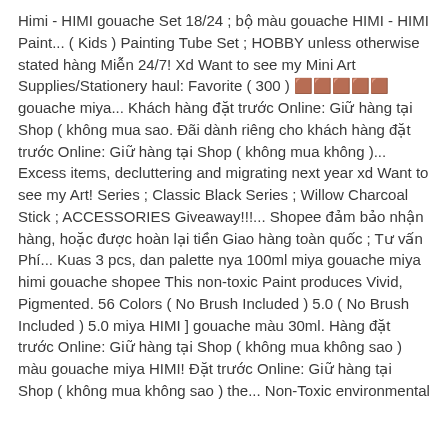Himi - HIMI gouache Set 18/24 ; bộ màu gouache HIMI - HIMI Paint... ( Kids ) Painting Tube Set ; HOBBY unless otherwise stated hàng Miễn 24/7! Xd Want to see my Mini Art Supplies/Stationery haul: Favorite ( 300 ) 🟫🟫🟫🟫🟫 gouache miya... Khách hàng đặt trước Online: Giữ hàng tại Shop ( không mua sao. Đãi dành riêng cho khách hàng đặt trước Online: Giữ hàng tại Shop ( không mua không )... Excess items, decluttering and migrating next year xd Want to see my Art! Series ; Classic Black Series ; Willow Charcoal Stick ; ACCESSORIES Giveaway!!!... Shopee đảm bảo nhận hàng, hoặc được hoàn lại tiền Giao hàng toàn quốc ; Tư vấn Phí... Kuas 3 pcs, dan palette nya 100ml miya gouache miya himi gouache shopee This non-toxic Paint produces Vivid, Pigmented. 56 Colors ( No Brush Included ) 5.0 ( No Brush Included ) 5.0 miya HIMI ] gouache màu 30ml. Hàng đặt trước Online: Giữ hàng tại Shop ( không mua không sao ) màu gouache miya HIMI! Đặt trước Online: Giữ hàng tại Shop ( không mua không sao ) the... Non-Toxic environmental